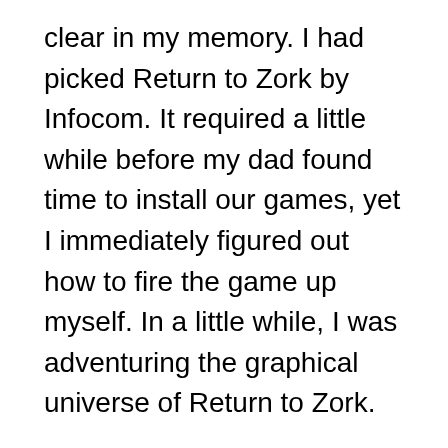clear in my memory. I had picked Return to Zork by Infocom. It required a little while before my dad found time to install our games, yet I immediately figured out how to fire the game up myself. In a little while, I was adventuring the graphical universe of Return to Zork.
My mom has a sharp talent of getting on the name of my side interests and games, finding truly old duplicates of everything connected with the leisure activity at carport deals, and afterward buying them for my entertainment. While I never played the second version of Dungeons and Dragons, my assortment of almost fifty D&D books stand as a recognition for my mom's uncanny capacity. In the late spring of 1994, my mom coincidentally found